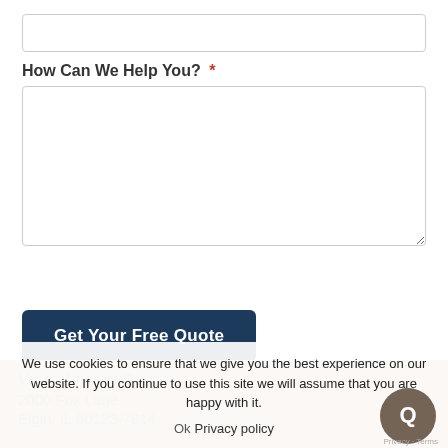[Figure (other): Empty text input field (single line, rounded border)]
How Can We Help You? *
[Figure (other): Large empty textarea input field for user message]
Get Your Free Quote
Vertical Interior Design
2000 Fox Lane
Elgin, IL 60123-7814
We use cookies to ensure that we give you the best experience on our website. If you continue to use this site we will assume that you are happy with it.
Ok
Privacy policy